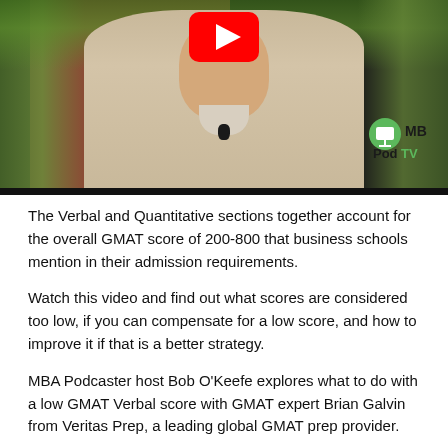[Figure (screenshot): YouTube video thumbnail showing a man in a white polo shirt speaking outdoors with brick wall and foliage in background, MBA PodTV logo in bottom right, YouTube play button at top center]
The Verbal and Quantitative sections together account for the overall GMAT score of 200-800 that business schools mention in their admission requirements.
Watch this video and find out what scores are considered too low, if you can compensate for a low score, and how to improve it if that is a better strategy.
MBA Podcaster host Bob O'Keefe explores what to do with a low GMAT Verbal score with GMAT expert Brian Galvin from Veritas Prep, a leading global GMAT prep provider.
Find out how to improve a low GMAT Verbal score and whether those with a quantitative background will be given leniency on the Verbal Section, and run through a sample GMAT Sentence Correction problem. Also, learn how MBA admissions directors